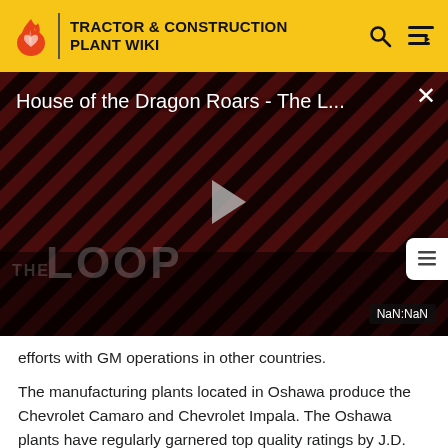TRACTOR & CONSTRUCTION PLANT WIKI
[Figure (screenshot): Embedded video player showing 'House of the Dragon Roars - The L...' with a play button in the center, diagonal striped red/black background, 'THE LOOP' text overlay, and a NaN:NaN timestamp badge in the lower right. A close (X) button appears in the top right.]
efforts with GM operations in other countries.
The manufacturing plants located in Oshawa produce the Chevrolet Camaro and Chevrolet Impala. The Oshawa plants have regularly garnered top quality ratings by J.D. Power.[6] The Oshawa facility was ranked number 1